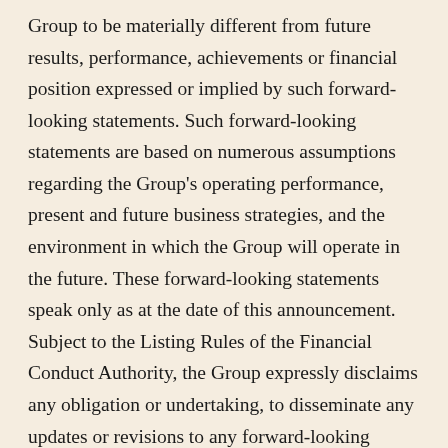Group to be materially different from future results, performance, achievements or financial position expressed or implied by such forward-looking statements. Such forward-looking statements are based on numerous assumptions regarding the Group's operating performance, present and future business strategies, and the environment in which the Group will operate in the future. These forward-looking statements speak only as at the date of this announcement. Subject to the Listing Rules of the Financial Conduct Authority, the Group expressly disclaims any obligation or undertaking, to disseminate any updates or revisions to any forward-looking statements, contained herein to reflect any change in the Group's expectations, with regard thereto or any change in events, conditions or circumstances on which any such